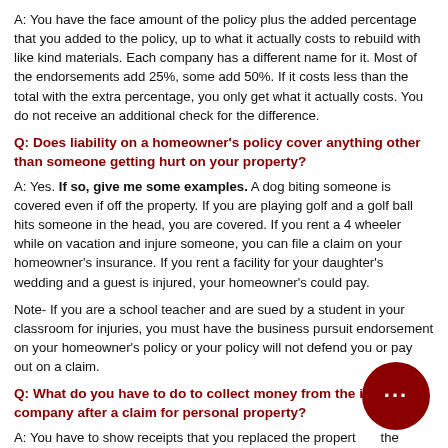A: You have the face amount of the policy plus the added percentage that you added to the policy, up to what it actually costs to rebuild with like kind materials. Each company has a different name for it. Most of the endorsements add 25%, some add 50%. If it costs less than the total with the extra percentage, you only get what it actually costs. You do not receive an additional check for the difference.
Q: Does liability on a homeowner's policy cover anything other than someone getting hurt on your property?
A: Yes. If so, give me some examples. A dog biting someone is covered even if off the property. If you are playing golf and a golf ball hits someone in the head, you are covered. If you rent a 4 wheeler while on vacation and injure someone, you can file a claim on your homeowner's insurance. If you rent a facility for your daughter's wedding and a guest is injured, your homeowner's could pay.
Note- If you are a school teacher and are sued by a student in your classroom for injuries, you must have the business pursuit endorsement on your homeowner's policy or your policy will not defend you or pay out on a claim.
Q: What do you have to do to collect money from the insurance company after a claim for personal property?
A: You have to show receipts that you replaced the property at the replacement cost amount. In other words.... you will get a check for actual cash value. Once you replace the property and send